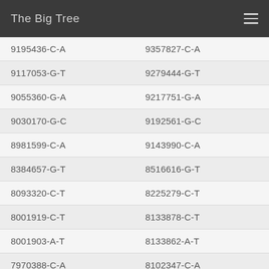The Big Tree
| 9195436-C-A | 9357827-C-A |
| 9117053-G-T | 9279444-G-T |
| 9055360-G-A | 9217751-G-A |
| 9030170-G-C | 9192561-G-C |
| 8981599-C-A | 9143990-C-A |
| 8384657-G-T | 8516616-G-T |
| 8093320-C-T | 8225279-C-T |
| 8001919-C-T | 8133878-C-T |
| 8001903-A-T | 8133862-A-T |
| 7970388-C-A | 8102347-C-A |
| 9993586-C-A | 10155977-C-A |